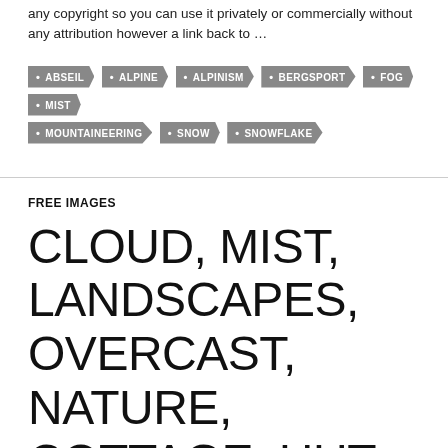any copyright so you can use it privately or commercially without any attribution however a link back to …
ABSEIL
ALPINE
ALPINISM
BERGSPORT
FOG
MIST
MOUNTAINEERING
SNOW
SNOWFLAKE
FREE IMAGES
CLOUD, MIST, LANDSCAPES, OVERCAST, NATURE, COTTAGE, HUT, CLOUDY, CHALET, HOLIDAY, BREAK, WOOD, LONE, LONELY, NATURE, ONLY, MOUNT…